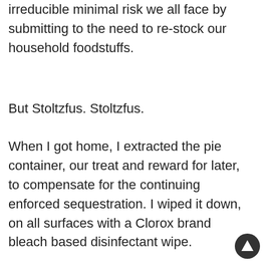irreducible minimal risk we all face by submitting to the need to re-stock our household foodstuffs.
But Stoltzfus. Stoltzfus.
When I got home, I extracted the pie container, our treat and reward for later, to compensate for the continuing enforced sequestration. I wiped it down, on all surfaces with a Clorox brand bleach based disinfectant wipe.
I removed my wallet, and all the cards I touched and all the cards they touched, and wiped them down, and wiped down the wallet.
Is this infallible? Of course not. Is it safer than trusting to the vagaries of normal retail practice (images of all the signs in all the